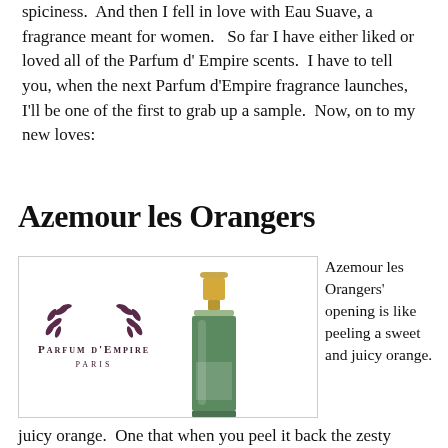spiciness.  And then I fell in love with Eau Suave, a fragrance meant for women.   So far I have either liked or loved all of the Parfum d' Empire scents.  I have to tell you, when the next Parfum d'Empire fragrance launches, I'll be one of the first to grab up a sample.  Now, on to my new loves:
Azemour les Orangers
[Figure (illustration): Parfum d'Empire Paris logo with laurel wreath emblem on the left and a tall green perfume bottle with gold cap on the right, inside a bordered box.]
Azemour les Orangers' opening is like peeling a sweet and juicy orange.  One that when you peel it back the zesty spray of the juice flies up in the air and hits you in the